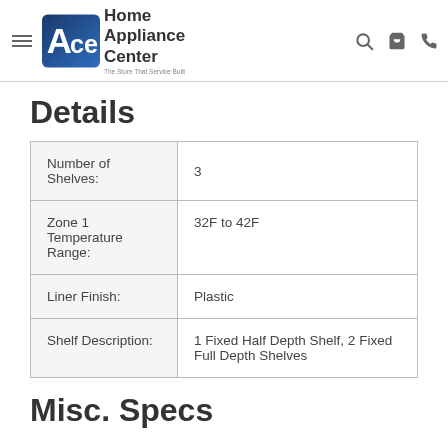Ace Home Appliance Center — The Store That Service Built
Details
|  |  |
| --- | --- |
| Number of Shelves: | 3 |
| Zone 1 Temperature Range: | 32F to 42F |
| Liner Finish: | Plastic |
| Shelf Description: | 1 Fixed Half Depth Shelf, 2 Fixed Full Depth Shelves |
Misc. Specs